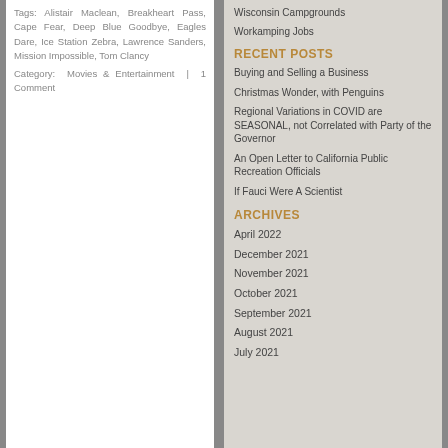Tags: Alistair Maclean, Breakheart Pass, Cape Fear, Deep Blue Goodbye, Eagles Dare, Ice Station Zebra, Lawrence Sanders, Mission Impossible, Tom Clancy
Category: Movies & Entertainment | 1 Comment
Wisconsin Campgrounds
Workamping Jobs
RECENT POSTS
Buying and Selling a Business
Christmas Wonder, with Penguins
Regional Variations in COVID are SEASONAL, not Correlated with Party of the Governor
An Open Letter to California Public Recreation Officials
If Fauci Were A Scientist
ARCHIVES
April 2022
December 2021
November 2021
October 2021
September 2021
August 2021
July 2021